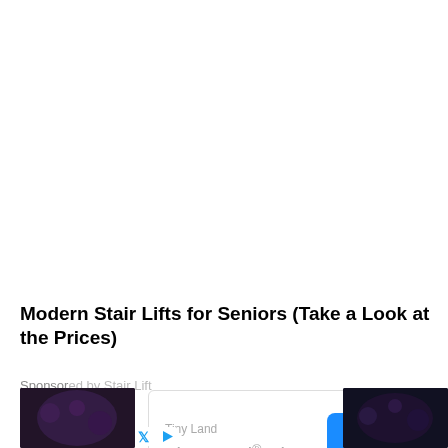Modern Stair Lifts for Seniors (Take a Look at the Prices)
Sponsored
[Figure (other): Mobile app advertisement overlay showing 'Tiny Land' brand with 'Tiny Land® Play' text and a blue OPEN button]
[Figure (photo): Dark thumbnail image on the bottom left with crowd/event scene]
[Figure (photo): Dark thumbnail image on the bottom right with crowd/event scene]